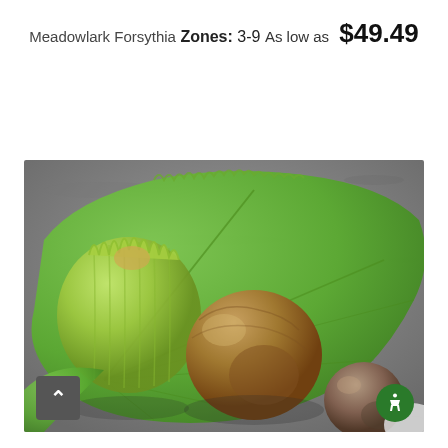Meadowlark Forsythia
Zones: 3-9
As low as  $49.49
[Figure (photo): Close-up photo of hazelnuts — one still in green husk, one brown shelled, one smaller brown nut — resting on a large green leaf with visible veins, against a rough gray stone background. A scroll-up button is visible at bottom-left and an accessibility icon at bottom-right.]